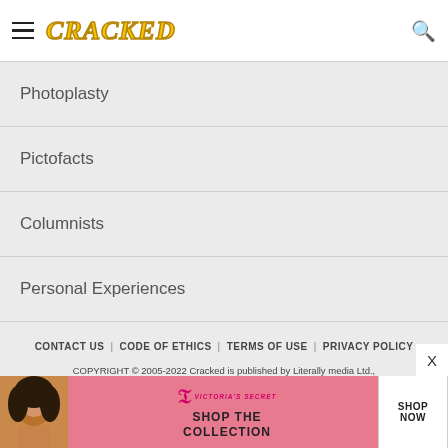CRACKED
Photoplasty
Pictofacts
Columnists
Personal Experiences
CONTACT US | CODE OF ETHICS | TERMS OF USE | PRIVACY POLICY
COPYRIGHT © 2005-2022 Cracked is published by Literally media Ltd.,
[Figure (photo): Victoria's Secret advertisement banner. Shows a woman with curly hair on a pink background. Text reads 'SHOP THE COLLECTION' with a 'SHOP NOW' button. Victoria's Secret logo displayed.]